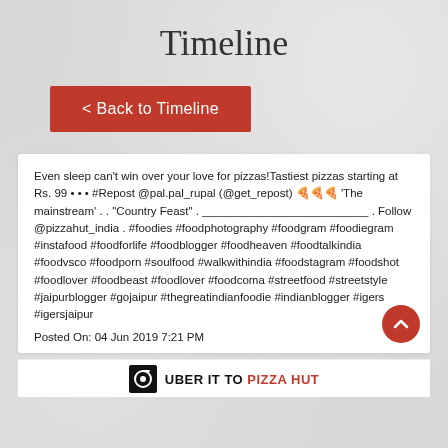Timeline
< Back to Timeline
Even sleep can't win over your love for pizzas!Tastiest pizzas starting at Rs. 99 • • • #Repost @pal.pal_rupal (@get_repost) 🍕🍕🍕 'The mainstream' . . "Country Feast" . __________________________ . Follow @pizzahut_india . #foodies #foodphotography #foodgram #foodiegram #instafood #foodforlife #foodblogger #foodheaven #foodtalkindia #foodvsco #foodporn #soulfood #walkwithindia #foodstagram #foodshot #foodlover #foodbeast #foodlover #foodcoma #streetfood #streetstyle #jaipurblogger #gojaipur #thegreatindianfoodie #indianblogger #igers #igersjaipur
Posted On: 04 Jun 2019 7:21 PM
[Figure (logo): Uber logo with text UBER IT TO PIZZA HUT]